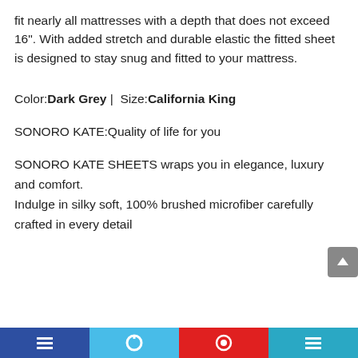fit nearly all mattresses with a depth that does not exceed 16". With added stretch and durable elastic the fitted sheet is designed to stay snug and fitted to your mattress.
Color:Dark Grey | Size:California King
SONORO KATE:Quality of life for you
SONORO KATE SHEETS wraps you in elegance, luxury and comfort.
Indulge in silky soft, 100% brushed microfiber carefully crafted in every detail
[Figure (screenshot): Bottom navigation bar with four colored sections (dark blue, light blue, red, teal) containing white icons]